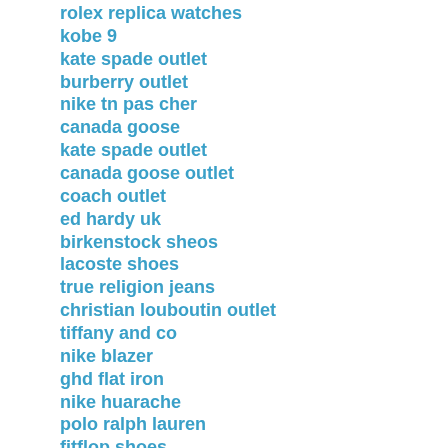rolex replica watches
kobe 9
kate spade outlet
burberry outlet
nike tn pas cher
canada goose
kate spade outlet
canada goose outlet
coach outlet
ed hardy uk
birkenstock sheos
lacoste shoes
true religion jeans
christian louboutin outlet
tiffany and co
nike blazer
ghd flat iron
nike huarache
polo ralph lauren
fitflop shoes
christian louboutin
cheap jordan shoes
ralph lauren outlet